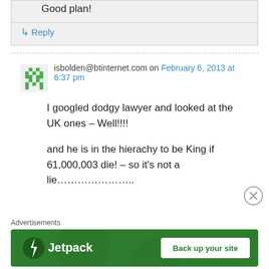Good plan!
↳ Reply
isbolden@btinternet.com on February 6, 2013 at 6:37 pm
I googled dodgy lawyer and looked at the UK ones – Well!!!!
and he is in the hierachy to be King if 61,000,003 die! – so it's not a lie…………………..
Advertisements
[Figure (other): Jetpack advertisement banner with 'Back up your site' button]